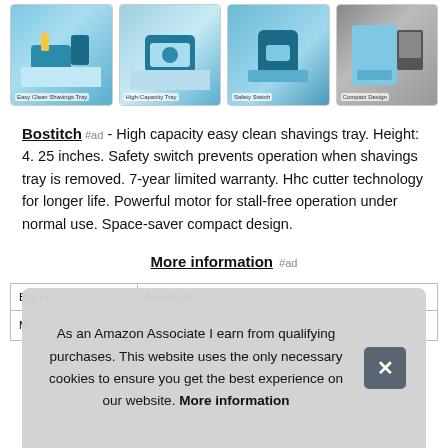[Figure (photo): Four thumbnail images of a Bostitch pencil sharpener product showing various angles and features including easy-clean shavings tray, high-capacity tray, safety switch, and compact design]
Bostitch #ad - High capacity easy clean shavings tray. Height: 4. 25 inches. Safety switch prevents operation when shavings tray is removed. 7-year limited warranty. Hhc cutter technology for longer life. Powerful motor for stall-free operation under normal use. Space-saver compact design.
More information #ad
| Brand | Bostitch |
| --- | --- |
| Ma |  |
As an Amazon Associate I earn from qualifying purchases. This website uses the only necessary cookies to ensure you get the best experience on our website. More information